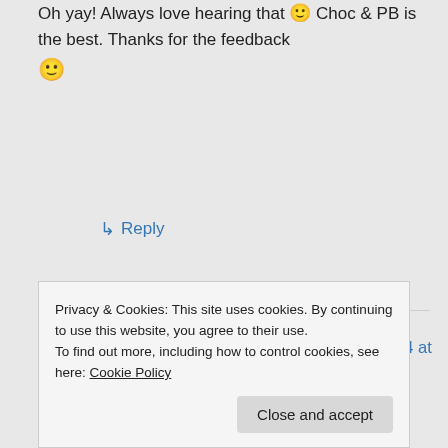Oh yay! Always love hearing that 🙂 Choc & PB is the best. Thanks for the feedback 🙂
↳ Reply
Sophie33 on July 11, 2014 at 10:06 am
🙂 xxx
Privacy & Cookies: This site uses cookies. By continuing to use this website, you agree to their use.
To find out more, including how to control cookies, see here: Cookie Policy
Close and accept